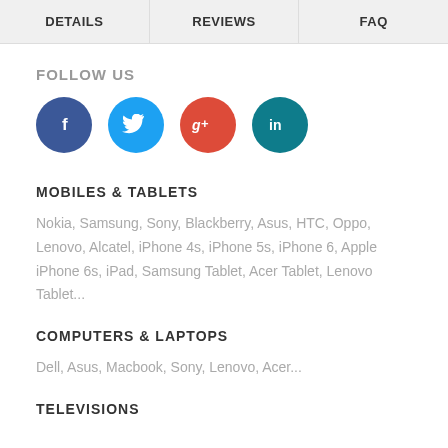DETAILS | REVIEWS | FAQ
FOLLOW US
[Figure (infographic): Row of four social media icon circles: Facebook (dark blue, f), Twitter (light blue, bird), Google+ (red, g+), LinkedIn (teal, in)]
MOBILES & TABLETS
Nokia, Samsung, Sony, Blackberry, Asus, HTC, Oppo, Lenovo, Alcatel, iPhone 4s, iPhone 5s, iPhone 6, Apple iPhone 6s, iPad, Samsung Tablet, Acer Tablet, Lenovo Tablet...
COMPUTERS & LAPTOPS
Dell, Asus, Macbook, Sony, Lenovo, Acer...
TELEVISIONS